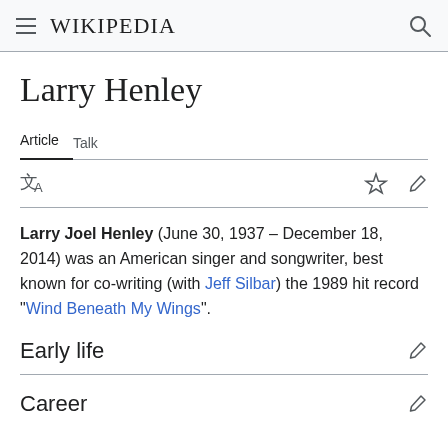Wikipedia
Larry Henley
Article  Talk
Larry Joel Henley (June 30, 1937 – December 18, 2014) was an American singer and songwriter, best known for co-writing (with Jeff Silbar) the 1989 hit record "Wind Beneath My Wings".
Early life
Career